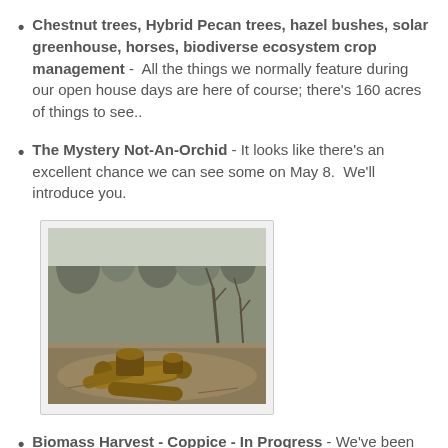Chestnut trees, Hybrid Pecan trees, hazel bushes, solar greenhouse, horses, biodiverse ecosystem crop management - All the things we normally feature during our open house days are here of course; there's 160 acres of things to see..
The Mystery Not-An-Orchid - It looks like there's an excellent chance we can see some on May 8. We'll introduce you.
[Figure (photo): Outdoor woodland scene showing cut logs and tree stumps piled in a clearing with sparse trees and brush in the background, likely a coppice harvest area.]
Biomass Harvest - Coppice - In Progress - We've been complaining for several years now that we were drowning in